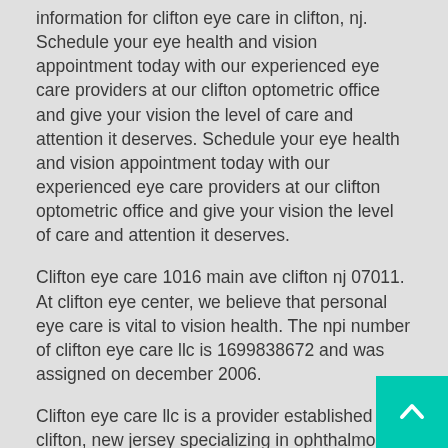information for clifton eye care in clifton, nj. Schedule your eye health and vision appointment today with our experienced eye care providers at our clifton optometric office and give your vision the level of care and attention it deserves. Schedule your eye health and vision appointment today with our experienced eye care providers at our clifton optometric office and give your vision the level of care and attention it deserves.
Clifton eye care 1016 main ave clifton nj 07011. At clifton eye center, we believe that personal eye care is vital to vision health. The npi number of clifton eye care llc is 1699838672 and was assigned on december 2006.
Clifton eye care llc is a provider established in clifton, new jersey specializing in ophthalmology. Brought to you by merchantcircle. Will definitely be coming back!
Brought to you by opendius. Find eye care local business listings in and near clifton, nj. Regular responsibilities of ophthalmologist include:.